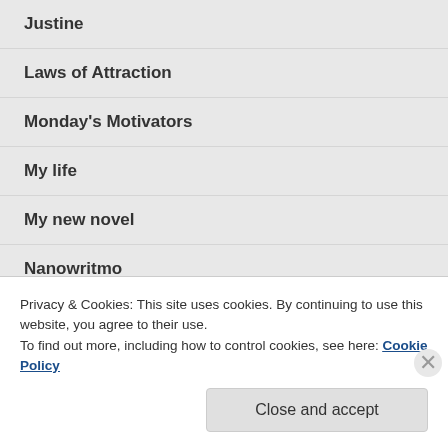Justine
Laws of Attraction
Monday's Motivators
My life
My new novel
Nanowritmo
new book
not my story to tell
Privacy & Cookies: This site uses cookies. By continuing to use this website, you agree to their use.
To find out more, including how to control cookies, see here: Cookie Policy
Close and accept